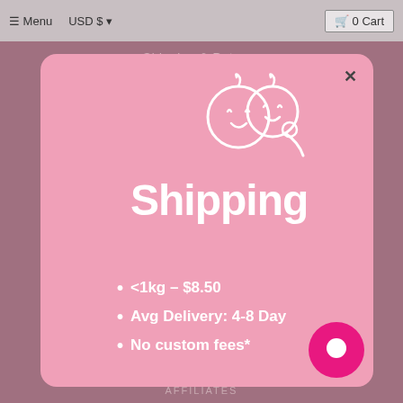Menu  USD $  0 Cart
Shipping & Returns
[Figure (illustration): Two cartoon baby faces illustration in white outline on pink background]
Shipping
<1kg - $8.50
Avg Delivery: 4-8 Day
No custom fees*
AFFILIATES